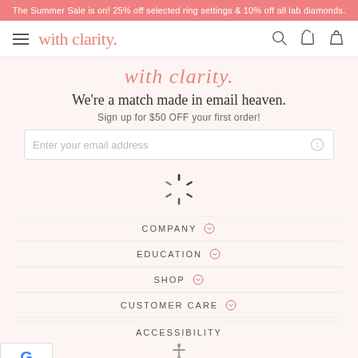The Summer Sale is on! 25% off selected ring settings & 10% off all lab diamonds.
[Figure (screenshot): With Clarity website navigation bar with hamburger menu, logo, search, phone, and shopping bag icons]
with clarity.
We're a match made in email heaven.
Sign up for $50 OFF your first order!
[Figure (other): Email input field with placeholder 'Enter your email address' and a loading spinner overlay]
COMPANY
EDUCATION
SHOP
CUSTOMER CARE
ACCESSIBILITY
[Figure (other): Google review widget showing 4.8 rating with Google G logo]
[Figure (other): Accessibility person icon]